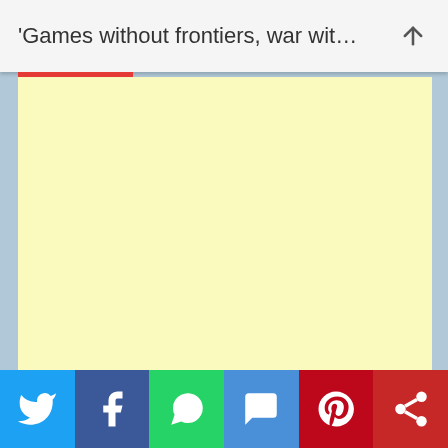'Games without frontiers, war wit...
[Figure (screenshot): Yellow/cream colored content area (blank note or article body), light blue page background, with a red underline tab beneath the header bar.]
Social share buttons: Twitter, Facebook, WhatsApp, SMS, Pinterest, More